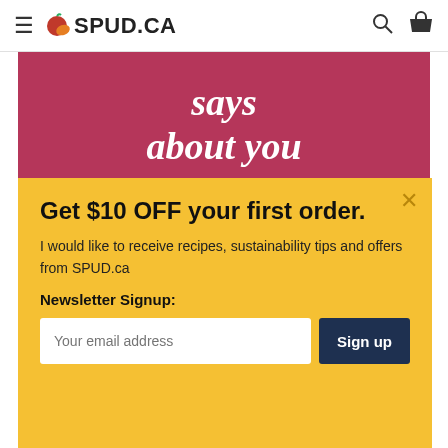≡ 🍎 SPUD.CA
[Figure (illustration): Pink/magenta banner image with italic bold white text reading 'says about you' and a white hand-drawn underline stroke below]
Get $10 OFF your first order.
I would like to receive recipes, sustainability tips and offers from SPUD.ca
Newsletter Signup:
Your email address  Sign up